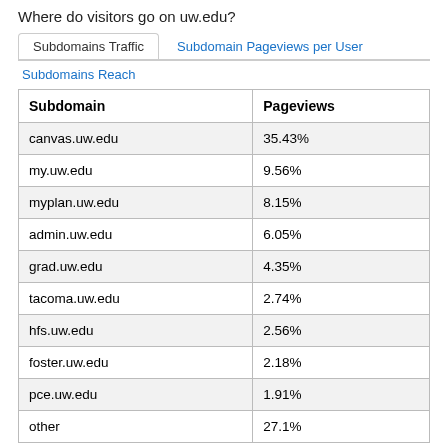Where do visitors go on uw.edu?
Subdomains Traffic | Subdomain Pageviews per User | Subdomains Reach
| Subdomain | Pageviews |
| --- | --- |
| canvas.uw.edu | 35.43% |
| my.uw.edu | 9.56% |
| myplan.uw.edu | 8.15% |
| admin.uw.edu | 6.05% |
| grad.uw.edu | 4.35% |
| tacoma.uw.edu | 2.74% |
| hfs.uw.edu | 2.56% |
| foster.uw.edu | 2.18% |
| pce.uw.edu | 1.91% |
| other | 27.1% |